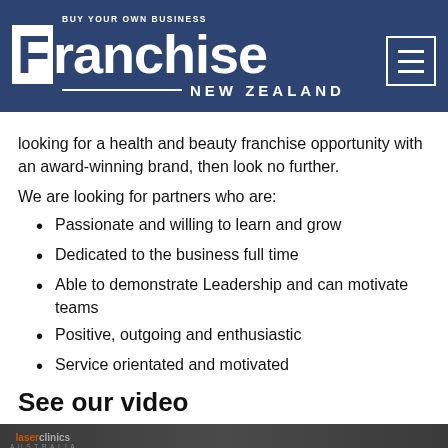BUY YOUR OWN BUSINESS Franchise NEW ZEALAND
looking for a health and beauty franchise opportunity with an award-winning brand, then look no further.
We are looking for partners who are:
Passionate and willing to learn and grow
Dedicated to the business full time
Able to demonstrate Leadership and can motivate teams
Positive, outgoing and enthusiastic
Service orientated and motivated
See our video
[Figure (screenshot): Video thumbnail showing laser clinics branding with text 'Partner with an award winning fran...' on a dark background with faces]